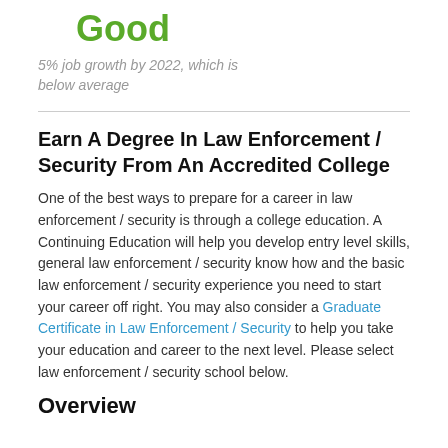Good
5% job growth by 2022, which is below average
Earn A Degree In Law Enforcement / Security From An Accredited College
One of the best ways to prepare for a career in law enforcement / security is through a college education. A Continuing Education will help you develop entry level skills, general law enforcement / security know how and the basic law enforcement / security experience you need to start your career off right. You may also consider a Graduate Certificate in Law Enforcement / Security to help you take your education and career to the next level. Please select law enforcement / security school below.
Overview